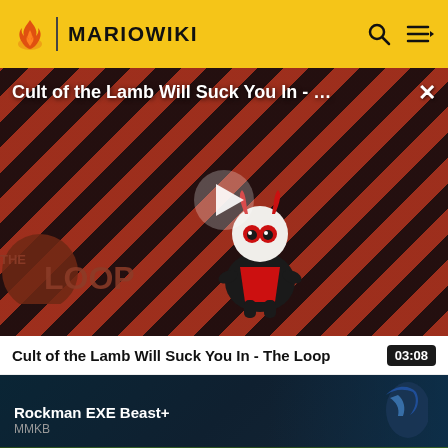MARIOWIKI
[Figure (screenshot): Video player showing 'Cult of the Lamb Will Suck You In - ...' with a red-and-black diagonal stripe background, a cartoon lamb character in the center, a play button overlay, 'THE LOOP' logo bottom left, and a close X button top right.]
Cult of the Lamb Will Suck You In - The Loop	03:08
[Figure (screenshot): Dark thumbnail card for 'Rockman EXE Beast+' by MMKB, with a dark blue/teal background and an anime character visible on the right.]
[Figure (screenshot): Partial thumbnail strip at the bottom showing green-colored content, partially cropped.]